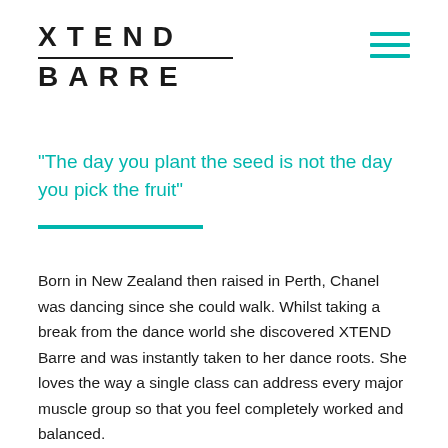XTEND BARRE
"The day you plant the seed is not the day you pick the fruit"
Born in New Zealand then raised in Perth, Chanel was dancing since she could walk. Whilst taking a break from the dance world she discovered XTEND Barre and was instantly taken to her dance roots. She loves the way a single class can address every major muscle group so that you feel completely worked and balanced.
Her love of movement led her to complete her Instructor